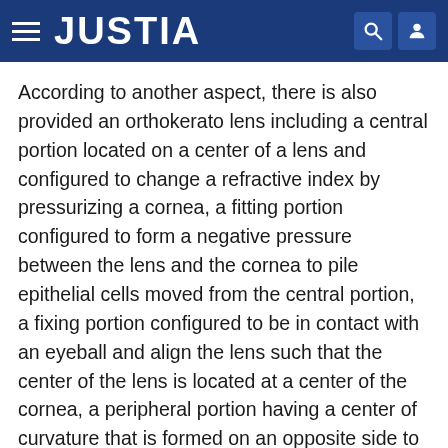JUSTIA
According to another aspect, there is also provided an orthokerato lens including a central portion located on a center of a lens and configured to change a refractive index by pressurizing a cornea, a fitting portion configured to form a negative pressure between the lens and the cornea to pile epithelial cells moved from the central portion, a fixing portion configured to be in contact with an eyeball and align the lens such that the center of the lens is located at a center of the cornea, a peripheral portion having a center of curvature that is formed on an opposite side to a center of curvature of the fitting portion and a center of curvature of the central portion based on the lens and having a radius of curvature that is less than a radius of curvature of the fixing portion, and a circulation hole configured to penetrate the central portion.